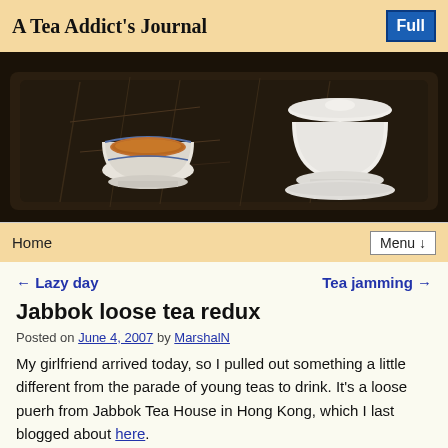A Tea Addict's Journal
[Figure (photo): Photo of a dark wooden tea tray with a small blue-and-white cup filled with amber tea on the left, and a white gaiwan (lidded tea bowl) on the right. The tray has engraved bamboo designs.]
Home | Menu ↓
← Lazy day    Tea jamming →
Jabbok loose tea redux
Posted on June 4, 2007 by MarshalN
My girlfriend arrived today, so I pulled out something a little different from the parade of young teas to drink. It's a loose puerh from Jabbok Tea House in Hong Kong, which I last blogged about here.
The dry leaves look normal, if a bit broken (bottom of the pile